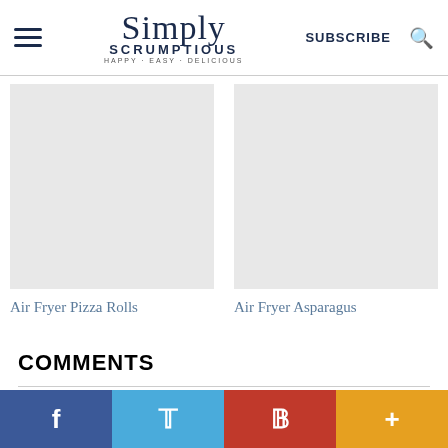Simply Scrumptious — HAPPY · EASY · DELICIOUS
[Figure (photo): Air Fryer Pizza Rolls — image placeholder (grey box)]
Air Fryer Pizza Rolls
[Figure (photo): Air Fryer Asparagus — image placeholder (grey box)]
Air Fryer Asparagus
COMMENTS
f  t  P  +